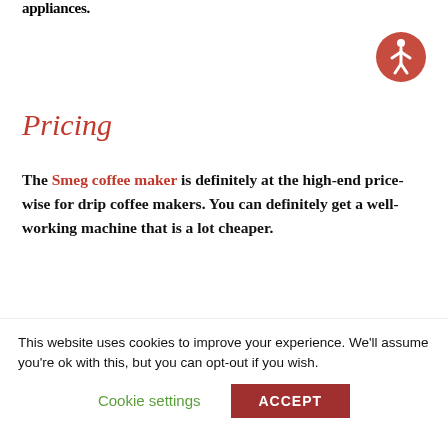appliances.
[Figure (illustration): Accessibility icon — circular red border with white stick figure person inside]
Pricing
The Smeg coffee maker is definitely at the high-end price-wise for drip coffee makers. You can definitely get a well-working machine that is a lot cheaper.
However, this one is made out of higher quality materials and has a lot of functions, however,
This website uses cookies to improve your experience. We'll assume you're ok with this, but you can opt-out if you wish.
Cookie settings  ACCEPT